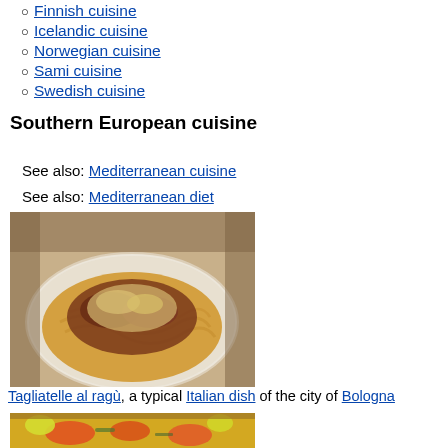Finnish cuisine
Icelandic cuisine
Norwegian cuisine
Sami cuisine
Swedish cuisine
Southern European cuisine
See also: Mediterranean cuisine
See also: Mediterranean diet
[Figure (photo): Photo of Tagliatelle al ragù pasta dish on a white plate]
Tagliatelle al ragù, a typical Italian dish of the city of Bologna
[Figure (photo): Photo of paella dish with seafood and lemon slices]